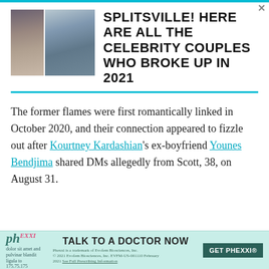SPLITSVILLE! HERE ARE ALL THE CELEBRITY COUPLES WHO BROKE UP IN 2021
[Figure (photo): Collage of celebrity couple photos]
The former flames were first romantically linked in October 2020, and their connection appeared to fizzle out after Kourtney Kardashian's ex-boyfriend Younes Bendjima shared DMs allegedly from Scott, 38, on August 31.
[Figure (other): Advertisement: TALK TO A DOCTOR NOW - GET PHEXXI. Phexxi is a trademark of Evofem Biosciences, Inc. © 2021 Evofem Biosciences, Inc. EVFM-US-001110 February 2021. See Full Prescribing Information]